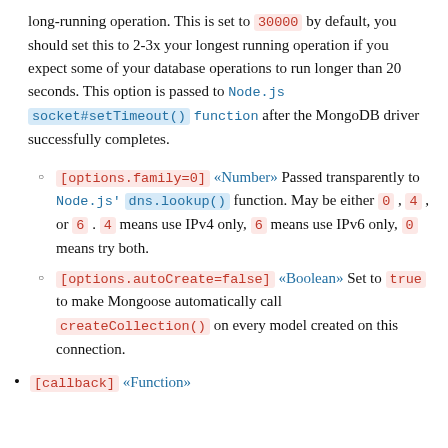long-running operation. This is set to 30000 by default, you should set this to 2-3x your longest running operation if you expect some of your database operations to run longer than 20 seconds. This option is passed to Node.js socket#setTimeout() function after the MongoDB driver successfully completes.
[options.family=0] «Number» Passed transparently to Node.js' dns.lookup() function. May be either 0, 4, or 6. 4 means use IPv4 only, 6 means use IPv6 only, 0 means try both.
[options.autoCreate=false] «Boolean» Set to true to make Mongoose automatically call createCollection() on every model created on this connection.
[callback] «Function»